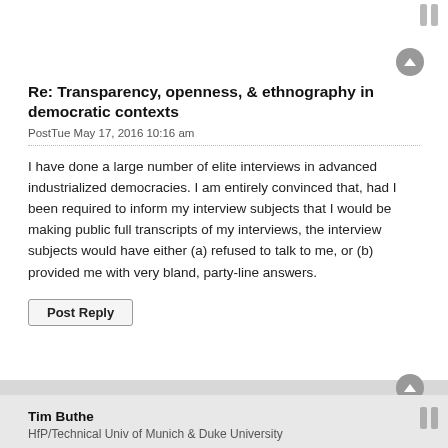Re: Transparency, openness, & ethnography in democratic contexts
PostTue May 17, 2016 10:16 am
I have done a large number of elite interviews in advanced industrialized democracies. I am entirely convinced that, had I been required to inform my interview subjects that I would be making public full transcripts of my interviews, the interview subjects would have either (a) refused to talk to me, or (b) provided me with very bland, party-line answers.
Post Reply
Tim Buthe
HfP/Technical Univ of Munich & Duke University